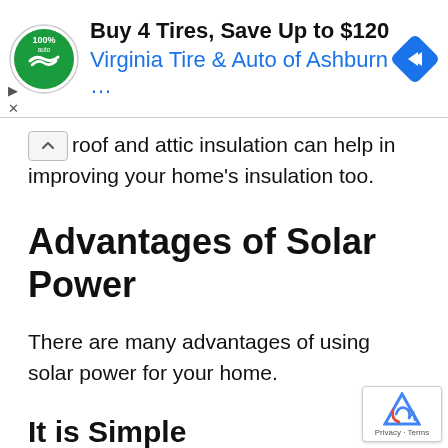[Figure (other): Advertisement banner: Buy 4 Tires, Save Up to $120 - Virginia Tire & Auto of Ashburn ...]
roof and attic insulation can help in improving your home's insulation too.
Advantages of Solar Power
There are many advantages of using solar power for your home.
It is Simple
PV systems may seem to be too complex and high-tech in their architecture. But for the consumer, they are simple. Most importantly, they don't have any moving